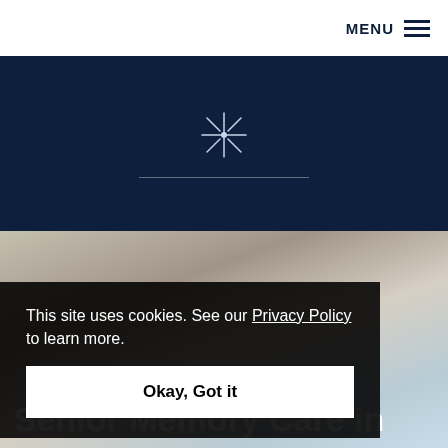MENU
[Figure (logo): Star/compass rose logo icon on dark navy background with horizontal divider line]
[Figure (photo): Photo of a middle-aged man kissing an elderly woman on the cheek, suggesting a caregiver or family member with a senior]
This site uses cookies. See our Privacy Policy to learn more.
Okay, Got it
Senior Memory Care in